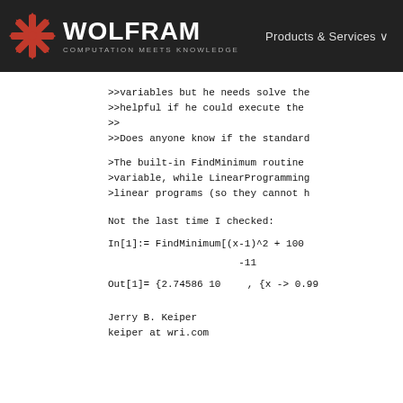WOLFRAM COMPUTATION MEETS KNOWLEDGE | Products & Services
>>variables but he needs solve the
>>helpful if he could execute the
>>
>>Does anyone know if the standard
>The built-in FindMinimum routine
>variable, while LinearProgramming
>linear programs (so they cannot h
Not the last time I checked:
In[1]:= FindMinimum[(x-1)^2 + 100
-11
Out[1]= {2.74586 10    , {x -> 0.99
Jerry B. Keiper
keiper at wri.com